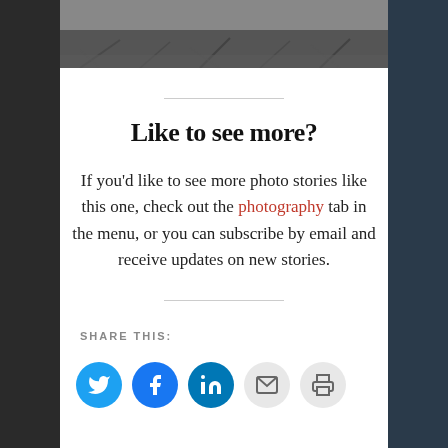[Figure (photo): Black and white photograph of grass and roots, cropped at top]
Like to see more?
If you'd like to see more photo stories like this one, check out the photography tab in the menu, or you can subscribe by email and receive updates on new stories.
SHARE THIS:
[Figure (infographic): Social share buttons: Twitter, Facebook, LinkedIn, Email, Print]